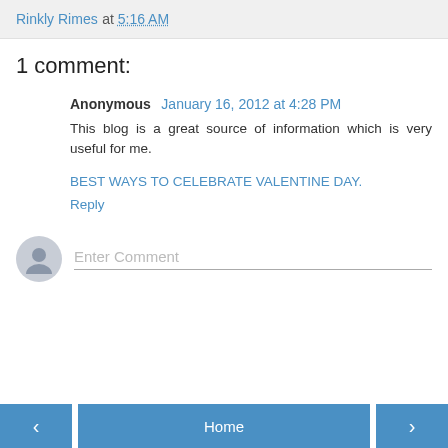Rinkly Rimes at 5:16 AM
1 comment:
Anonymous January 16, 2012 at 4:28 PM
This blog is a great source of information which is very useful for me.
BEST WAYS TO CELEBRATE VALENTINE DAY.
Reply
Enter Comment
< Home >